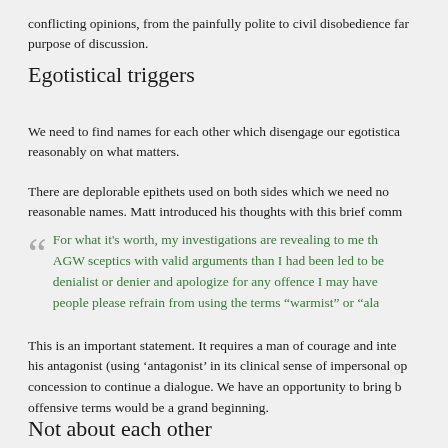conflicting opinions, from the painfully polite to civil disobedience far purpose of discussion.
Egotistical triggers
We need to find names for each other which disengage our egotistica reasonably on what matters.
There are deplorable epithets used on both sides which we need no reasonable names. Matt introduced his thoughts with this brief comm
For what it's worth, my investigations are revealing to me th AGW sceptics with valid arguments than I had been led to be denialist or denier and apologize for any offence I may have people please refrain from using the terms “warmist” or “ala
This is an important statement. It requires a man of courage and inte his antagonist (using ‘antagonist’ in its clinical sense of impersonal op concession to continue a dialogue. We have an opportunity to bring b offensive terms would be a grand beginning.
Not about each other